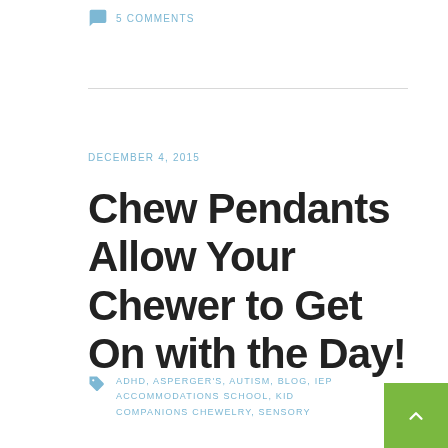5 COMMENTS
DECEMBER 4, 2015
Chew Pendants Allow Your Chewer to Get On with the Day!
ADHD, ASPERGER'S, AUTISM, BLOG, IEP ACCOMMODATIONS SCHOOL, KID COMPANIONS CHEWELRY, SENSORY